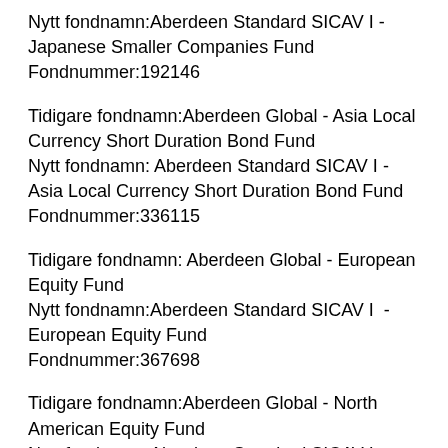Nytt fondnamn:Aberdeen Standard SICAV I - Japanese Smaller Companies Fund
Fondnummer:192146
Tidigare fondnamn:Aberdeen Global - Asia Local Currency Short Duration Bond Fund
Nytt fondnamn: Aberdeen Standard SICAV I - Asia Local Currency Short Duration Bond Fund
Fondnummer:336115
Tidigare fondnamn: Aberdeen Global - European Equity Fund
Nytt fondnamn:Aberdeen Standard SICAV I  - European Equity Fund
Fondnummer:367698
Tidigare fondnamn:Aberdeen Global - North American Equity Fund
Nytt fondnamn:Aberdeen Standard SICAV I - North